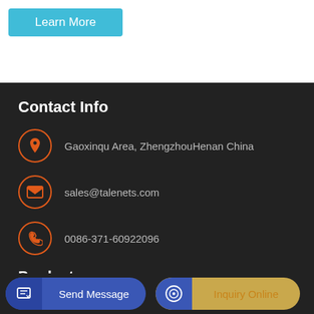Learn More
Contact Info
Gaoxinqu Area, ZhengzhouHenan China
sales@talenets.com
0086-371-60922096
Products
concrete mixer pump
Send Message
Inquiry Online